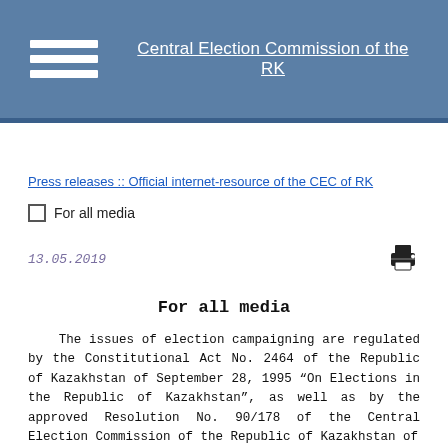Central Election Commission of the RK
Press releases :: Official internet-resource of the CEC of RK
For all media
13.05.2019
For all media
The issues of election campaigning are regulated by the Constitutional Act No. 2464 of the Republic of Kazakhstan of September 28, 1995 “On Elections in the Republic of Kazakhstan”, as well as by the approved Resolution No. 90/178 of the Central Election Commission of the Republic of Kazakhstan of